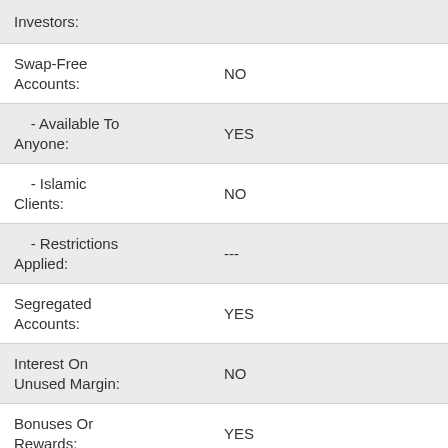| Field | Value |
| --- | --- |
| Investors: |  |
| Swap-Free Accounts: | NO |
| - Available To Anyone: | YES |
| - Islamic Clients: | NO |
| - Restrictions Applied: | --- |
| Segregated Accounts: | YES |
| Interest On Unused Margin: | NO |
| Bonuses Or Rewards: | YES |